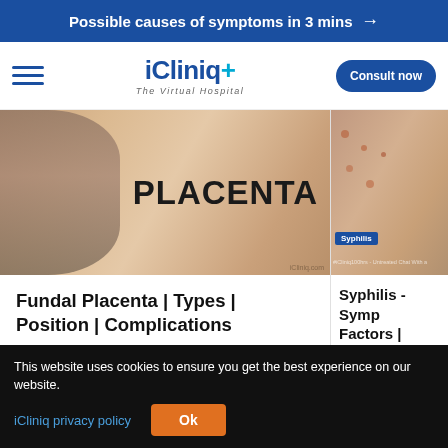Possible causes of symptoms in 3 mins →
[Figure (logo): iCliniq+ The Virtual Hospital logo with hamburger menu and Consult now button]
[Figure (photo): Pregnant woman holding belly with text PLACENTA overlay]
Fundal Placenta | Types | Position | Complications
Dr. Sangeeta Milap
[Figure (photo): Close-up of hand with Syphilis skin lesions, labeled Syphilis]
Syphilis - Symptoms | Risk Factors | Treatment | Prevention
Dr. Bhal... Bhagvan...
This website uses cookies to ensure you get the best experience on our website.
iCliniq privacy policy
Ok